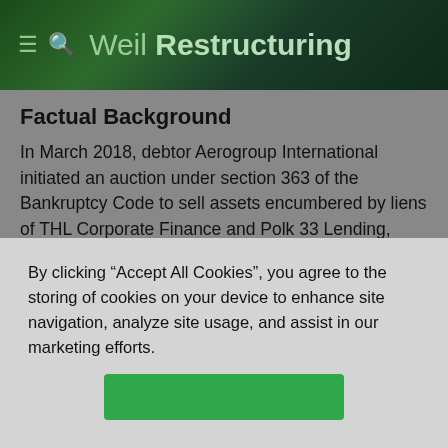Weil Restructuring
Factual Background
In March 2018, debtor Aerogroup International initiated an auction under section 363 of the Bankruptcy Code to sell assets encumbered by liens of THL Corporate Finance and Polk 33 Lending, LLC. THL and Polk held first and second liens in a so called “split lien” collateral structure. At the auction, THL submitted a credit bid of approximately $12.2 million and then agreed to refrain from credit bidding any
By clicking “Accept All Cookies”, you agree to the storing of cookies on your device to enhance site navigation, analyze site usage, and assist in our marketing efforts.